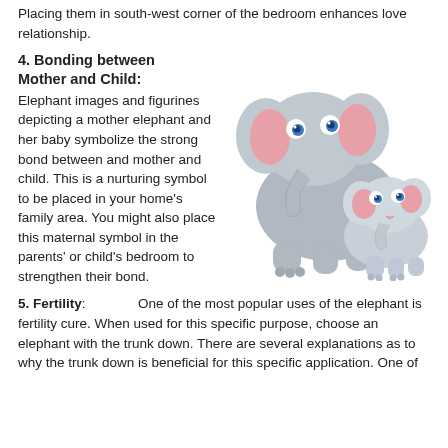Placing them in south-west corner of the bedroom enhances love relationship.
4. Bonding between Mother and Child:
Elephant images and figurines depicting a mother elephant and her baby symbolize the strong bond between and mother and child. This is a nurturing symbol to be placed in your home's family area. You might also place this maternal symbol in the parents' or child's bedroom to strengthen their bond.
[Figure (illustration): Cartoon illustration of a large mother elephant and a small baby elephant sitting together, both with blue eyes and pink ears, in a cute animated style.]
5. Fertility: One of the most popular uses of the elephant is fertility cure. When used for this specific purpose, choose an elephant with the trunk down. There are several explanations as to why the trunk down is beneficial for this specific application. One of